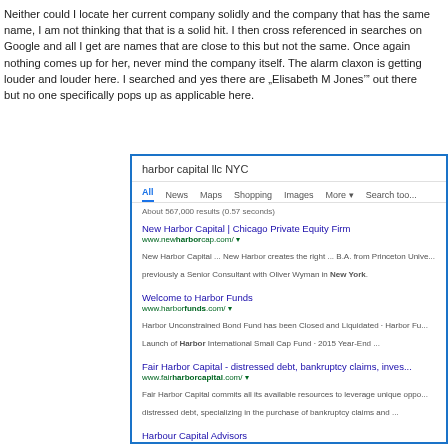Neither could I locate her current company solidly and the company that has the same name, I am not thinking that that is a solid hit. I then cross referenced in searches on Google and all I get are names that are close to this but not the same. Once again nothing comes up for her, never mind the company itself. The alarm claxon is getting louder and louder here. I searched and yes there are „Elisabeth M Jones’” out there but no one specifically pops up as applicable here.
[Figure (screenshot): Google search results screenshot for 'harbor capital llc NYC' showing results including New Harbor Capital, Welcome to Harbor Funds, Fair Harbor Capital, and Harbour Capital Advisors]